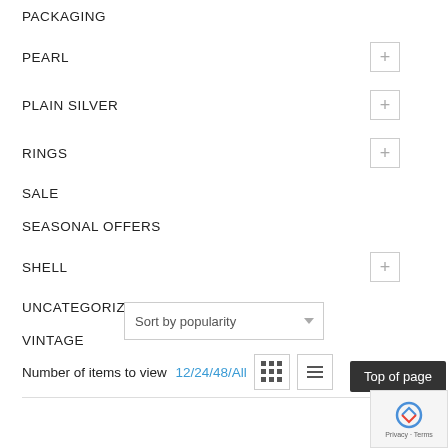PACKAGING
PEARL
PLAIN SILVER
RINGS
SALE
SEASONAL OFFERS
SHELL
UNCATEGORIZED
VINTAGE
Sort by popularity
Number of items to view 12/24/48/All
Top of page